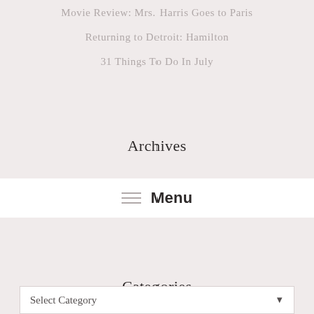Movie Review: Mrs. Harris Goes to Paris
Returning to Detroit: Hamilton
31 Things To Do In July
Archives
Menu
Categories
Select Category